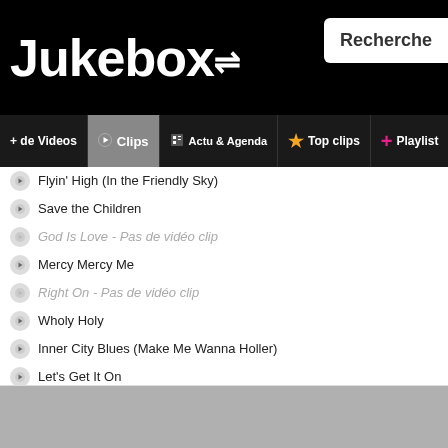Jukebox
Flyin' High (In the Friendly Sky)
Save the Children
God Is Love - Pas de vidéo clip
Mercy Mercy Me
Right On - Pas de vidéo clip
Wholy Holy
Inner City Blues (Make Me Wanna Holler)
Let's Get It On
Please Don't Stay (Once You Go Away) - Pas de vidéo clip
If I Should Die Tonight
Keep Gettin' It On
Come Get to This
Distant Lover
You Sure Love to Ball
Just Keep You Satisfied